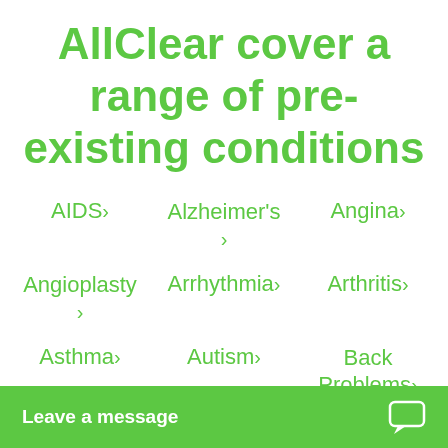AllClear cover a range of pre-existing conditions
AIDS >
Alzheimer's >
Angina >
Angioplasty >
Arrhythmia >
Arthritis >
Asthma >
Autism >
Back Problems >
Breast Cancer >
Cancer >
Cardio...
Leave a message